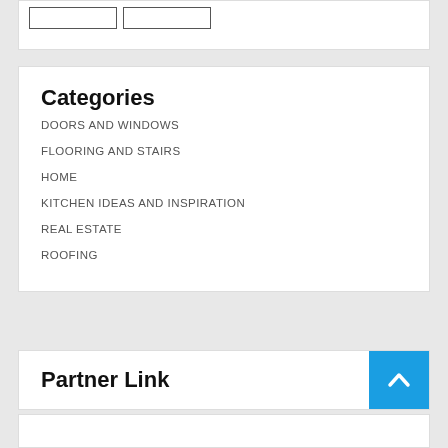Categories
DOORS AND WINDOWS
FLOORING AND STAIRS
HOME
KITCHEN IDEAS AND INSPIRATION
REAL ESTATE
ROOFING
Partner Link